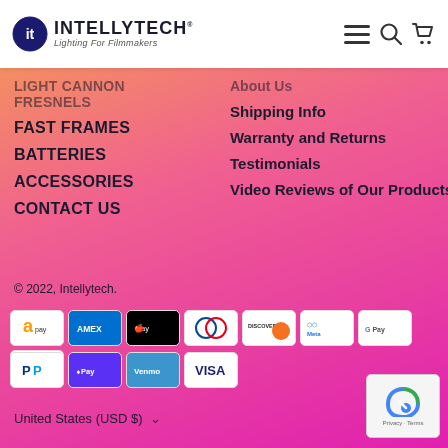Intellytech — Lighting For Filmmakers
LIGHT CANNON FRESNELS
FAST FRAMES
BATTERIES
ACCESSORIES
CONTACT US
About Us
Shipping Info
Warranty and Returns
Testimonials
Video Reviews of Our Products
© 2022, Intellytech.
[Figure (other): Payment method logos: Amazon Pay, American Express, Apple Pay, Diners Club, Discover, Meta Pay, Google Pay, Mastercard, PayPal, Shop Pay, Venmo, Visa]
United States (USD $)
[Figure (other): Google reCAPTCHA badge with Privacy and Terms links]